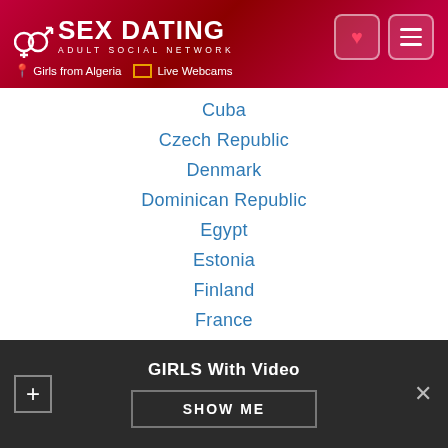SEX DATING ADULT SOCIAL NETWORK – Girls from Algeria | Live Webcams
Cuba
Czech Republic
Denmark
Dominican Republic
Egypt
Estonia
Finland
France
Germany
Greece
Greenland
Guatemala
Haiti
GIRLS With Video – SHOW ME